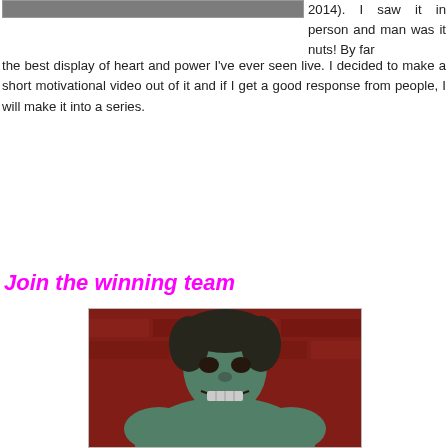[Figure (photo): Partial image at top left, cropped, showing a person (cut off at top)]
2014). I saw it in person and man was it nuts! By far the best display of heart and power I've ever seen live. I decided to make a short motivational video out of it and if I get a good response from people, I will make it into a series.
Join the winning team
[Figure (photo): Photo of a green-skinned muscular man (Incredible Hulk character) snarling, posed against a red brick wall]